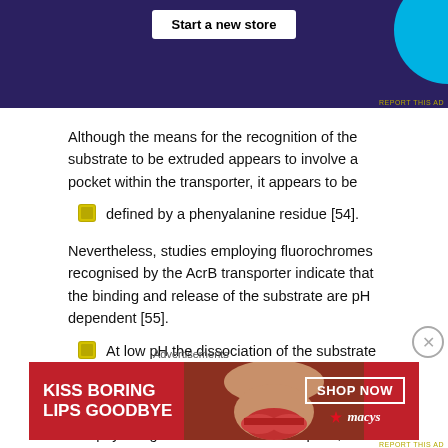[Figure (screenshot): Top advertisement banner with dark purple background, 'Start a new store' button, and teal circle graphic. 'REPORT THIS AD' text in bottom right.]
Although the means for the recognition of the substrate to be extruded appears to involve a pocket within the transporter, it appears to be
defined by a phenyalanine residue [54].
Nevertheless, studies employing fluorochromes recognised by the AcrB transporter indicate that the binding and release of the substrate are pH dependent [55].
At low pH the dissociation of the substrate is high and
at high pH it is very slow.
In a physiological environment of ca. pH 7, if the dissociation of the substrate is slow or not at all, then the effectiveness of the pump to extrude a noxious agent would be nullified. However, since the pump functions at this pH, conditions that
[Figure (screenshot): Bottom advertisement: Macy's 'Kiss Boring Lips Goodbye' ad with red background, woman's face, 'SHOP NOW' button and Macy's star logo.]